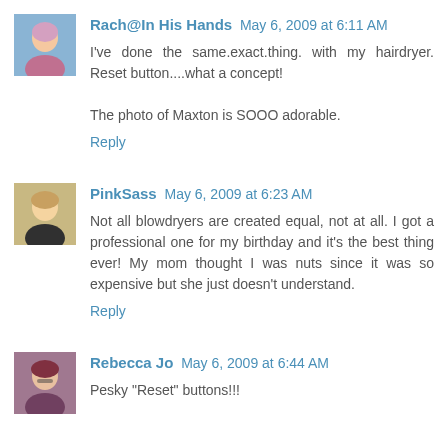Rach@In His Hands May 6, 2009 at 6:11 AM
I've done the same.exact.thing. with my hairdryer. Reset button....what a concept!

The photo of Maxton is SOOO adorable.
Reply
PinkSass May 6, 2009 at 6:23 AM
Not all blowdryers are created equal, not at all. I got a professional one for my birthday and it's the best thing ever! My mom thought I was nuts since it was so expensive but she just doesn't understand.
Reply
Rebecca Jo May 6, 2009 at 6:44 AM
Pesky "Reset" buttons!!!